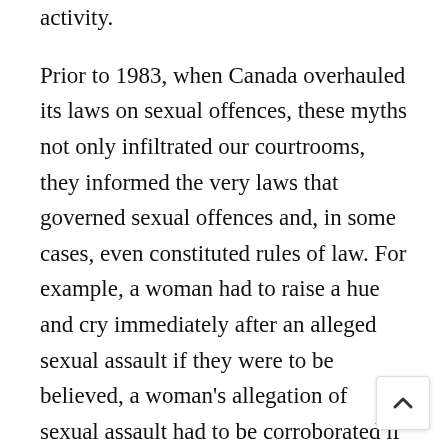activity.

Prior to 1983, when Canada overhauled its laws on sexual offences, these myths not only infiltrated our courtrooms, they informed the very laws that governed sexual offences and, in some cases, even constituted rules of law. For example, a woman had to raise a hue and cry immediately after an alleged sexual assault if they were to be believed, a woman's allegation of sexual assault had to be corroborated if they were to be believed, and a sexually active woman was considered to have been more likely to consent to sexual activity, even if unsolicited. When the existing sections 274, 275 and 277 of the Criminal Code were enacted in 1983, all of these rules had specifically abrogated, but this did not mean that